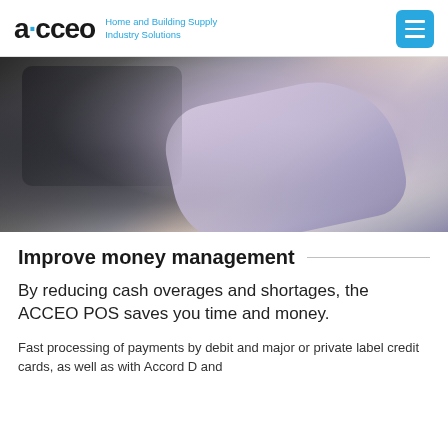acceo · Home and Building Supply Industry Solutions
[Figure (photo): Blurred close-up photo of a hand holding a credit card or payment card, with dark and light tones suggesting motion blur.]
Improve money management
By reducing cash overages and shortages, the ACCEO POS saves you time and money.
Fast processing of payments by debit and major or private label credit cards, as well as with Accord D and